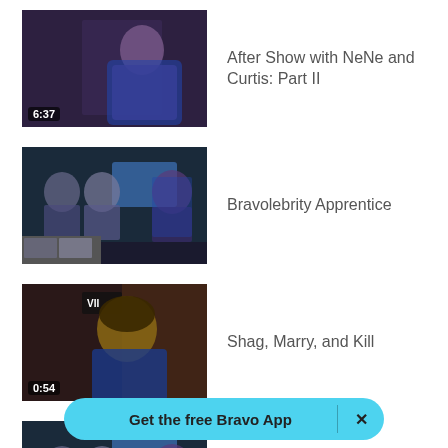[Figure (screenshot): Video thumbnail showing a woman in blue dress, duration 6:37]
After Show with NeNe and Curtis: Part II
[Figure (screenshot): Video thumbnail showing group of people at table, duration 4:02, with filmstrip preview]
Bravolebrity Apprentice
[Figure (screenshot): Video thumbnail showing a woman smiling in blue dress, duration 0:54]
Shag, Marry, and Kill
[Figure (screenshot): Video thumbnail showing group of people at table, duration 3:43, with filmstrip preview]
The Bravolebrity Apprentice
Get the free Bravo App